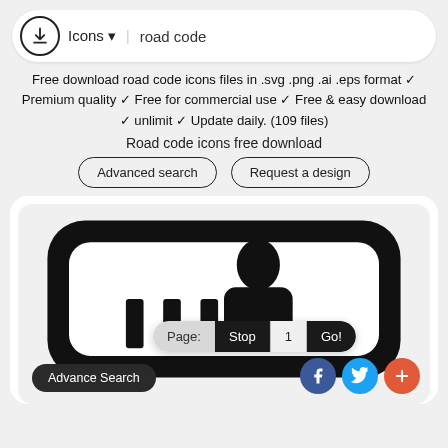Icons ▼  road code
Free download road code icons files in .svg .png .ai .eps format ✓ Premium quality ✓ Free for commercial use ✓ Free & easy download ✓ unlimit ✓ Update daily. (109 files)
Road code icons free download
Advanced search   Request a design
[Figure (screenshot): Road code icon preview with pagination bar showing Page: Stop 1 Go!, Advance Search pill, and social share buttons (Facebook, Twitter, plus)]